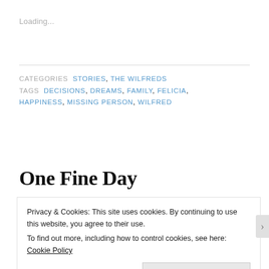Loading...
CATEGORIES  STORIES,  THE WILFREDS
TAGS  DECISIONS,  DREAMS,  FAMILY,  FELICIA,  HAPPINESS,  MISSING PERSON,  WILFRED
One Fine Day
Privacy & Cookies: This site uses cookies. By continuing to use this website, you agree to their use.
To find out more, including how to control cookies, see here: Cookie Policy
Close and accept